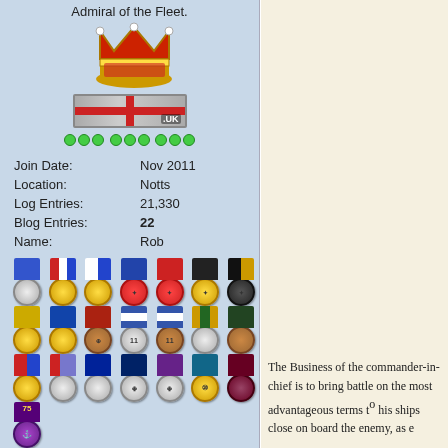Admiral of the Fleet.
[Figure (illustration): Crown icon above a UK flag bar with green reputation dots below]
Join Date: Nov 2011
Location: Notts
Log Entries: 21,330
Blog Entries: 22
Name: Rob
[Figure (illustration): Collection of military medals and ribbons arranged in rows]
The Business of the commander-in-chief is to bring battle on the most advantageous terms to get his ships close on board the enemy, as e